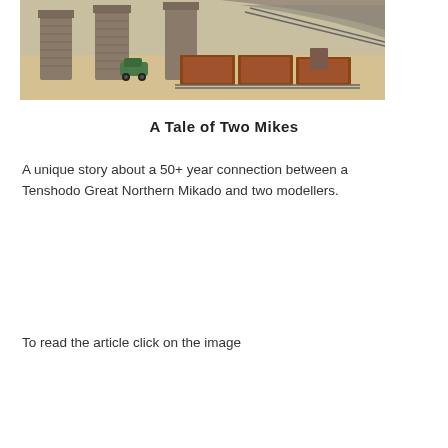[Figure (photo): Model railroad scene showing stone bridge pillars, a green vintage car, and brown freight train cars on curved tracks, viewed from above.]
A Tale of Two Mikes
A unique story about a 50+ year connection between a Tenshodo Great Northern Mikado and two modellers.
To read the article click on the image